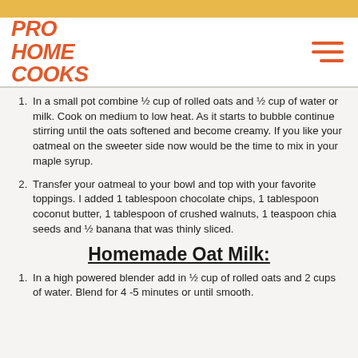[Figure (logo): Pro Home Cooks logo in red italic bold text]
In a small pot combine ½ cup of rolled oats and ½ cup of water or milk. Cook on medium to low heat. As it starts to bubble continue stirring until the oats softened and become creamy. If you like your oatmeal on the sweeter side now would be the time to mix in your maple syrup.
Transfer your oatmeal to your bowl and top with your favorite toppings. I added 1 tablespoon chocolate chips, 1 tablespoon coconut butter, 1 tablespoon of crushed walnuts, 1 teaspoon chia seeds and ½ banana that was thinly sliced.
Homemade Oat Milk:
In a high powered blender add in ½ cup of rolled oats and 2 cups of water. Blend for 4 -5 minutes or until smooth.